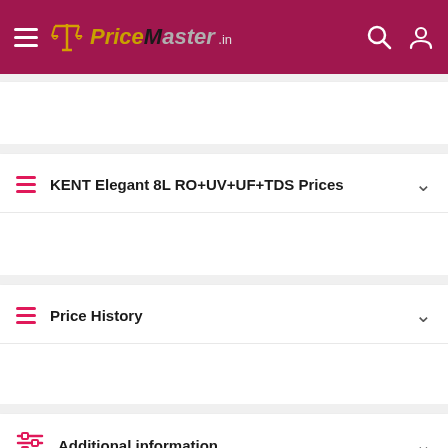PriceMaster.in
KENT Elegant 8L RO+UV+UF+TDS Prices
Price History
Additional information
Specification: KENT Elegant 8L